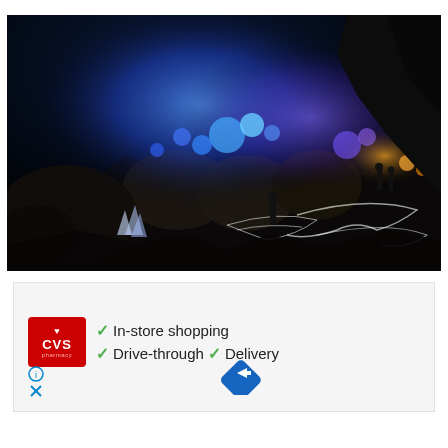[Figure (photo): Night-time photo of a volcanic crater (likely Kawah Ijen, Indonesia) showing vivid blue sulfuric fire flames glowing on dark rocky terrain. Figures and boulders are silhouetted against the brilliant blue light. Light trails are visible in the foreground. The scene is dark with deep blacks and striking electric blue illumination.]
[Figure (infographic): CVS Pharmacy advertisement panel on a light gray background. Shows CVS pharmacy red logo on the left, three checkmark bullet points: 'In-store shopping', 'Drive-through', and 'Delivery', and a blue diamond-shaped directions/navigation icon on the right. Below the logo are an info icon (circle-i) and a close/X icon.]